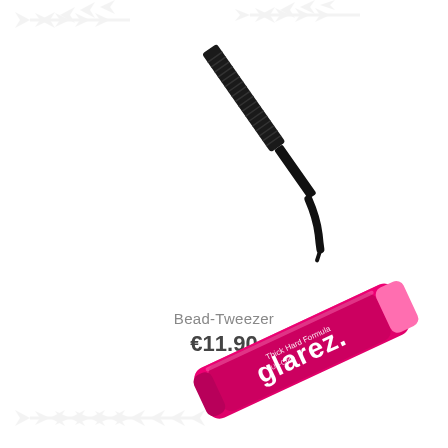[Figure (photo): Black curved bead-tweezer tool on white background with decorative fish-bone watermark pattern]
Bead-Tweezer
€11.90
[Figure (photo): Pink tube of Glarez thick hard formula product partially visible at bottom of page with decorative fish-bone watermark pattern]